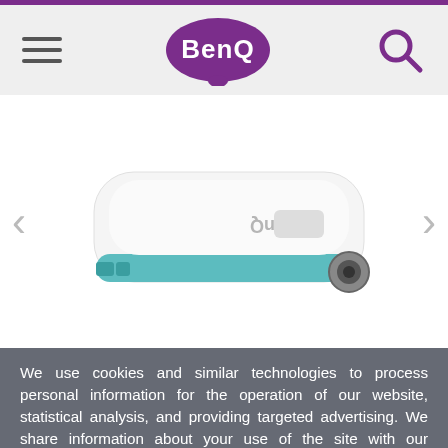[Figure (logo): BenQ purple logo with stylized speech bubble shape containing white BenQ text]
[Figure (photo): BenQ portable projector shown from above/side angle, white and teal/turquoise color, with BenQ branding on top, on white background with left and right navigation arrows]
We use cookies and similar technologies to process personal information for the operation of our website, statistical analysis, and providing targeted advertising. We share information about your use of the site with our advertising partners who may further share it with